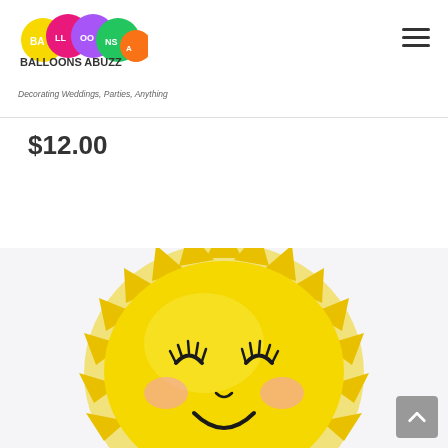Balloons Abuzz — Decorating Weddings, Parties, Anything
$12.00
Add to cart
[Figure (photo): Yellow sunshine smiley face foil balloon with spiky rays, closed eyes with eyelashes, pink rosy cheeks, and a happy smile — product photo on white background]